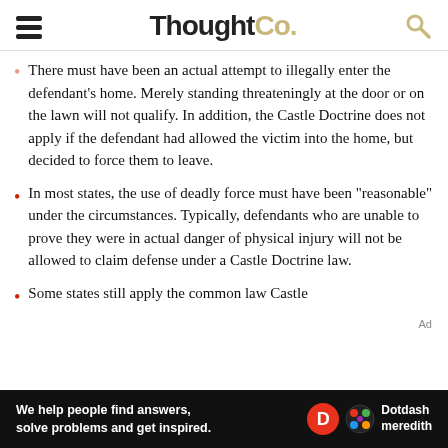ThoughtCo.
There must have been an actual attempt to illegally enter the defendant's home. Merely standing threateningly at the door or on the lawn will not qualify. In addition, the Castle Doctrine does not apply if the defendant had allowed the victim into the home, but decided to force them to leave.
In most states, the use of deadly force must have been "reasonable" under the circumstances. Typically, defendants who are unable to prove they were in actual danger of physical injury will not be allowed to claim defense under a Castle Doctrine law.
Some states still apply the common law Castle Doctrine...